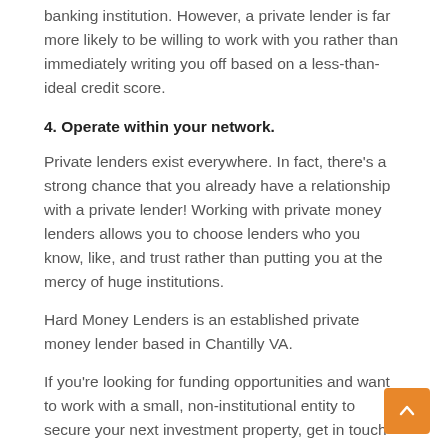banking institution. However, a private lender is far more likely to be willing to work with you rather than immediately writing you off based on a less-than-ideal credit score.
4. Operate within your network.
Private lenders exist everywhere. In fact, there's a strong chance that you already have a relationship with a private lender! Working with private money lenders allows you to choose lenders who you know, like, and trust rather than putting you at the mercy of huge institutions.
Hard Money Lenders is an established private money lender based in Chantilly VA.
If you're looking for funding opportunities and want to work with a small, non-institutional entity to secure your next investment property, get in touch with us HERE.